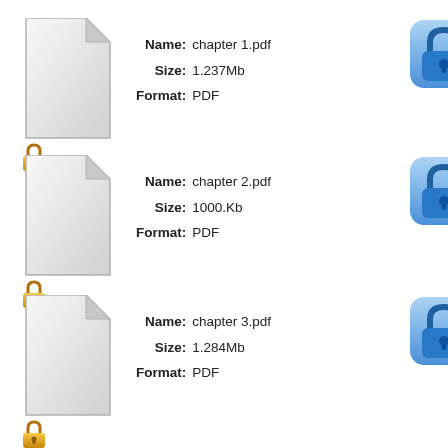[Figure (illustration): Document icon (white page with folded corner) for chapter 1.pdf, with a gold padlock icon below it]
Name: chapter 1.pdf
Size: 1.237Mb
Format: PDF
[Figure (illustration): Blue rounded square lock icon (partially visible, right edge)]
[Figure (illustration): Document icon (white page with folded corner) for chapter 2.pdf, with a gold padlock icon below it]
Name: chapter 2.pdf
Size: 1000.Kb
Format: PDF
[Figure (illustration): Blue rounded square lock icon (partially visible, right edge)]
[Figure (illustration): Document icon (white page with folded corner) for chapter 3.pdf, with a gold padlock icon below it]
Name: chapter 3.pdf
Size: 1.284Mb
Format: PDF
[Figure (illustration): Blue rounded square lock icon (partially visible, right edge)]